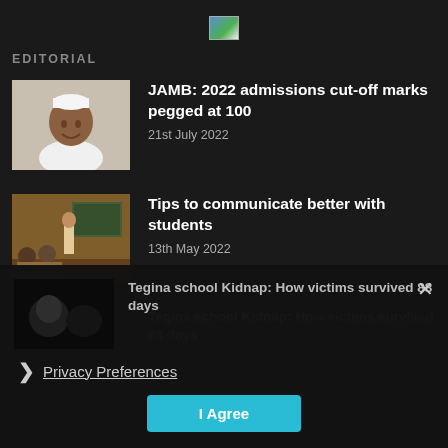[Figure (logo): Small logo image placeholder at top center]
EDITORIAL
[Figure (photo): Photo of a man in white traditional attire smiling]
JAMB: 2022 admissions cut-off marks pegged at 100
21st July 2022
[Figure (photo): Photo of a classroom scene with a teacher and students]
Tips to communicate better with students
13th May 2022
[Figure (photo): Dark photo partially visible at bottom]
Tegina school Kidnap: How victims survived 88 days
Privacy Preferences
I Agree